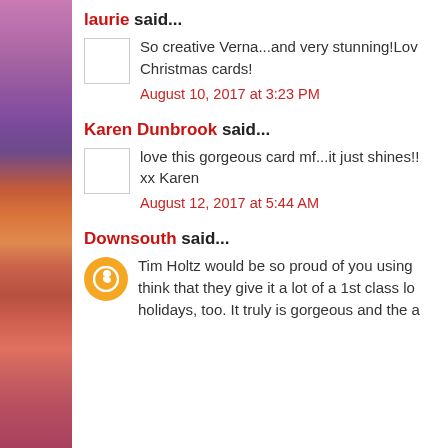laurie said...
So creative Verna...and very stunning!Lov Christmas cards!
August 10, 2017 at 3:23 PM
Karen Dunbrook said...
love this gorgeous card mf...it just shines!! xx Karen
August 12, 2017 at 5:44 AM
Downsouth said...
Tim Holtz would be so proud of you using think that they give it a lot of a 1st class lo holidays, too. It truly is gorgeous and the a